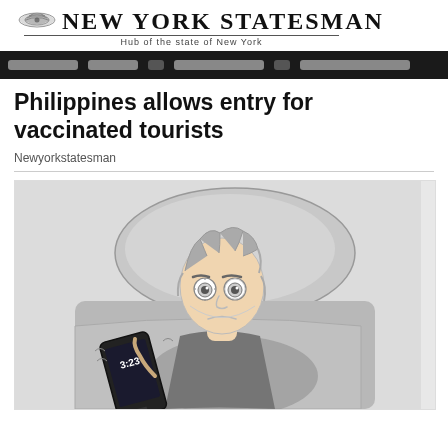New York Statesman — Hub of the state of New York
Philippines allows entry for vaccinated tourists
Newyorkstatesman
[Figure (illustration): Cartoon illustration of a person lying in bed awake, looking at a phone showing 3:23, appearing stressed or unable to sleep. The person lies on a pillow with wide worried eyes and a frown.]